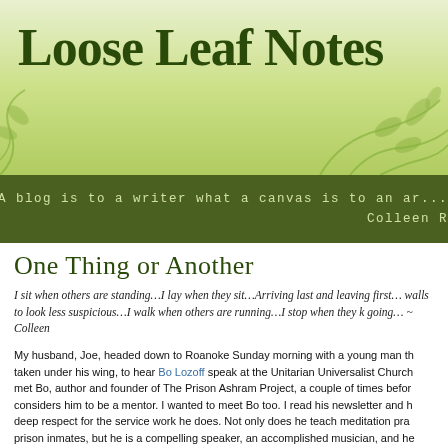Loose Leaf Notes
"A blog is to a writer what a canvas is to an ar... Colleen R
One Thing or Another
I sit when others are standing…I lay when they sit…Arriving last and leaving first… walls to look less suspicious…I walk when others are running…I stop when they k going...  ~ Colleen
My husband, Joe, headed down to Roanoke Sunday morning with a young man th taken under his wing, to hear Bo Lozoff speak at the Unitarian Universalist Church met Bo, author and founder of The Prison Ashram Project, a couple of times befor considers him to be a mentor. I wanted to meet Bo too. I read his newsletter and h deep respect for the service work he does. Not only does he teach meditation pra prison inmates, but he is a compelling speaker, an accomplished musician, and he wife head up "The Human Kindness Foundation" in North Carolina, where they live
I reminded my husband how hard it is to get me to do anything first thing in the mo especially if church is involved (having already filled my church quota as a girl). Bu